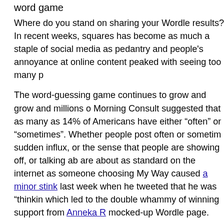word game
Where do you stand on sharing your Wordle results? In recent weeks, squares has become as much a staple of social media as pedantry and people's annoyance at online content peaked with seeing too many p
The word-guessing game continues to grow and grow and millions o Morning Consult suggested that as many as 14% of Americans have either “often” or “sometimes”. Whether people post often or sometim sudden influx, or the sense that people are showing off, or talking ab are about as standard on the internet as someone choosing My Way caused a minor stink last week when he tweeted that he was “thinkin which led to the double whammy of winning support from Anneka R mocked-up Wordle page.
Continue reading...
Shush! Britain’s top spy decries Wordle braggers
Wed, 02 Feb 2022 18:38:00 GMT
MI6 chief bemoans lack of secrecy among players of trending word
Crossword clues have long been one way of disguising secret mess